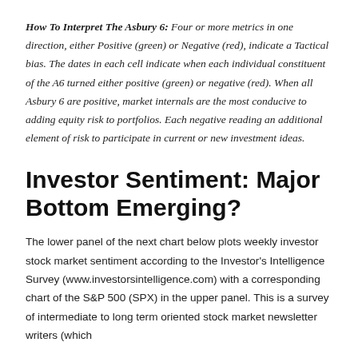How To Interpret The Asbury 6: Four or more metrics in one direction, either Positive (green) or Negative (red), indicate a Tactical bias. The dates in each cell indicate when each individual constituent of the A6 turned either positive (green) or negative (red). When all Asbury 6 are positive, market internals are the most conducive to adding equity risk to portfolios. Each negative reading an additional element of risk to participate in current or new investment ideas.
Investor Sentiment: Major Bottom Emerging?
The lower panel of the next chart below plots weekly investor stock market sentiment according to the Investor's Intelligence Survey (www.investorsintelligence.com) with a corresponding chart of the S&P 500 (SPX) in the upper panel. This is a survey of intermediate to long term oriented stock market newsletter writers (which